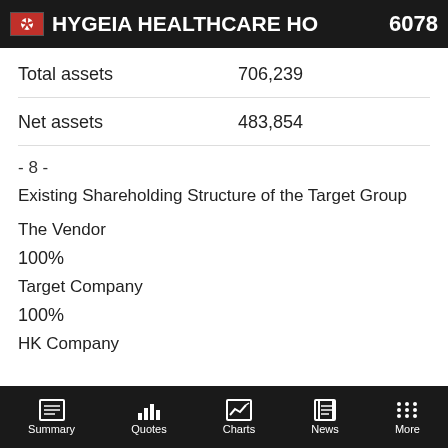HYGEIA HEALTHCARE HO  6078
Total assets    706,239
Net assets    483,854
- 8 -
Existing Shareholding Structure of the Target Group
The Vendor
100%
Target Company
100%
HK Company
Summary  Quotes  Charts  News  More